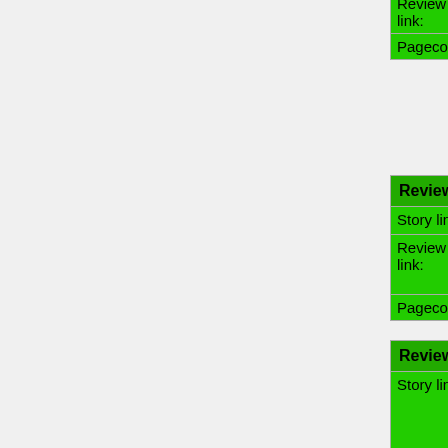| Review link: | Limerick | Story synopsis/keywords: |
| --- | --- | --- |
| Pagecount: | 8 |  |
| Reviewed story |
| --- |
| Story link: | 囧囧囧囧囧 | Story synopsis/keywords: |
| Review link: | A little Chinese story |  |
| Pagecount: | 7 |  |
| Reviewed story |
| --- |
| Story link: | Lost on a Cliff | Story synopsis/keywords: |
| Review link: | Lost on |  |